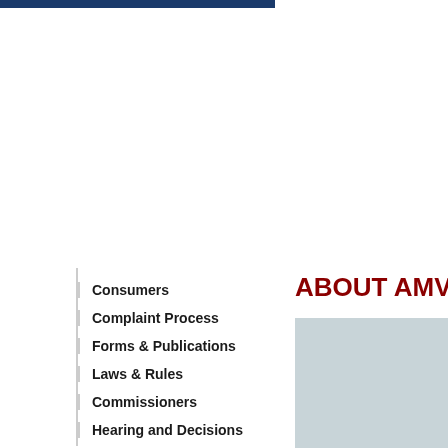Consumers
Complaint Process
Forms & Publications
Laws & Rules
Commissioners
Hearing and Decisions
ABOUT AMVC
[Figure (photo): Gray placeholder image box]